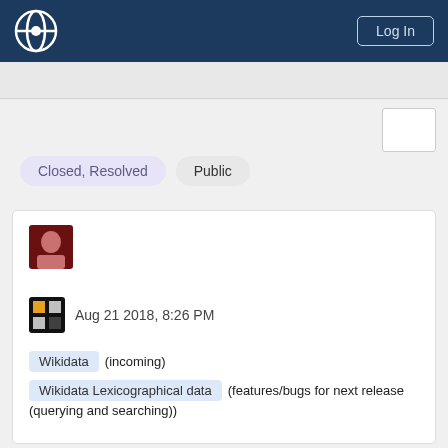Log In
Closed, Resolved   Public
Aug 21 2018, 8:26 PM
Wikidata (incoming)
Wikidata Lexicographical data (features/bugs for next release (querying and searching))